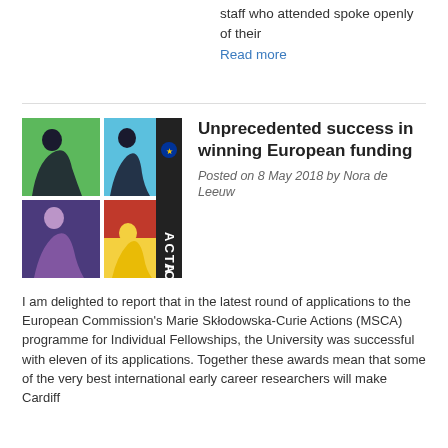staff who attended spoke openly of their
Read more
[Figure (illustration): MSCA ACTION logo — four panels in pop-art style with figures in green, cyan, purple, and red/yellow, with 'ACTION' text vertically on the right and EU star logo]
Unprecedented success in winning European funding
Posted on 8 May 2018 by Nora de Leeuw
I am delighted to report that in the latest round of applications to the European Commission's Marie Skłodowska-Curie Actions (MSCA) programme for Individual Fellowships, the University was successful with eleven of its applications. Together these awards mean that some of the very best international early career researchers will make Cardiff